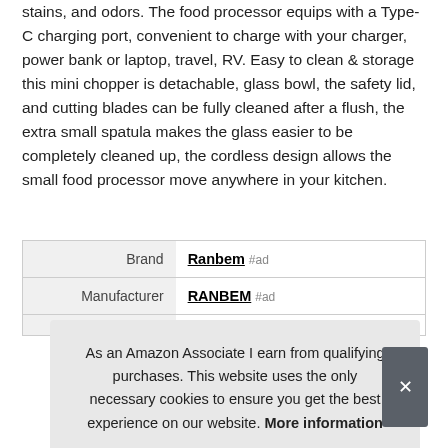stains, and odors. The food processor equips with a Type-C charging port, convenient to charge with your charger, power bank or laptop, travel, RV. Easy to clean & storage this mini chopper is detachable, glass bowl, the safety lid, and cutting blades can be fully cleaned after a flush, the extra small spatula makes the glass easier to be completely cleaned up, the cordless design allows the small food processor move anywhere in your kitchen.
|  |  |
| --- | --- |
| Brand | Ranbem #ad |
| Manufacturer | RANBEM #ad |
|  |  |
As an Amazon Associate I earn from qualifying purchases. This website uses the only necessary cookies to ensure you get the best experience on our website. More information